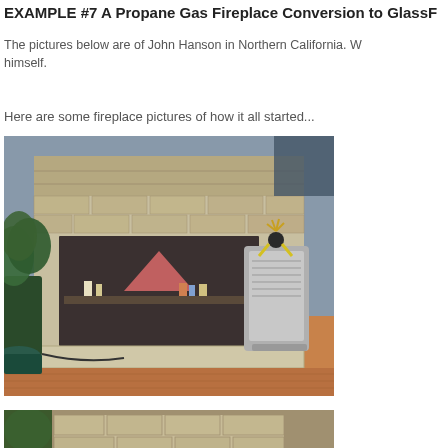EXAMPLE #7 A Propane Gas Fireplace Conversion to GlassF...
The pictures below are of John Hanson in Northern California. W... himself.
Here are some fireplace pictures of how it all started...
[Figure (photo): Photograph of a stone/brick fireplace with a gas heater unit beside it, plants to the left, and decorative items inside the firebox. Hardwood floor visible.]
[Figure (photo): Close-up photograph of the lower portion of the stone/brick fireplace surround, showing the hearth and brick structure. Plants visible to the left.]